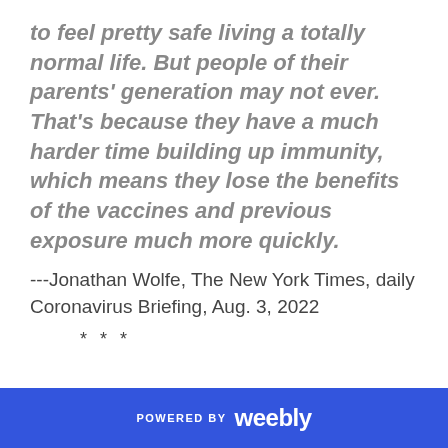to feel pretty safe living a totally normal life. But people of their parents' generation may not ever. That's because they have a much harder time building up immunity, which means they lose the benefits of the vaccines and previous exposure much more quickly.
---Jonathan Wolfe, The New York Times, daily Coronavirus Briefing, Aug. 3, 2022
* * *
POWERED BY weebly